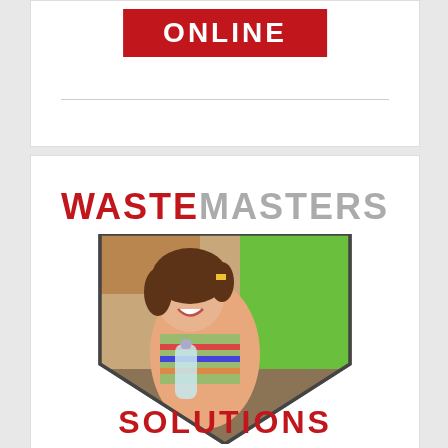[Figure (logo): Red button/banner with white bold text reading ONLINE]
[Figure (logo): WasteMasters Solutions logo: WASTE in red bold, MASTERS in gray bold distressed font, with a diamond/home-plate shaped image of a smiling girl holding a plastic bottle near recycling bins, and SOLUTIONS in red bold below]